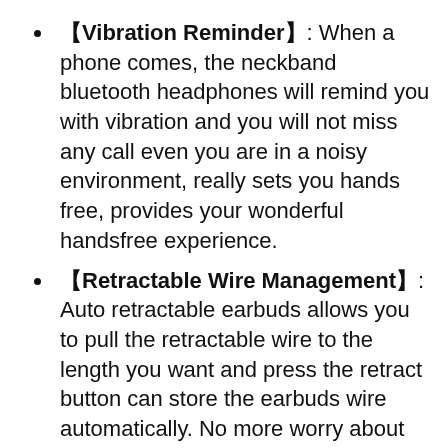【Vibration Reminder】: When a phone comes, the neckband bluetooth headphones will remind you with vibration and you will not miss any call even you are in a noisy environment, really sets you hands free, provides your wonderful handsfree experience.
【Retractable Wire Management】: Auto retractable earbuds allows you to pull the retractable wire to the length you want and press the retract button can store the earbuds wire automatically. No more worry about tangling or messy. We adopt high quality wire for this retractable headphones and can be retracted more than 5000 times.
【Ergonomic Neckband & Sweatproof Design】Ergonomic neckband design